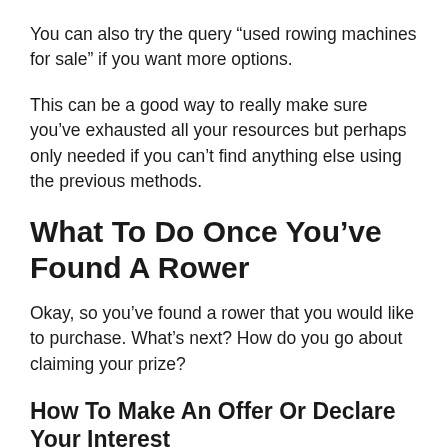You can also try the query “used rowing machines for sale” if you want more options.
This can be a good way to really make sure you’ve exhausted all your resources but perhaps only needed if you can’t find anything else using the previous methods.
What To Do Once You’ve Found A Rower
Okay, so you’ve found a rower that you would like to purchase. What’s next? How do you go about claiming your prize?
How To Make An Offer Or Declare Your Interest